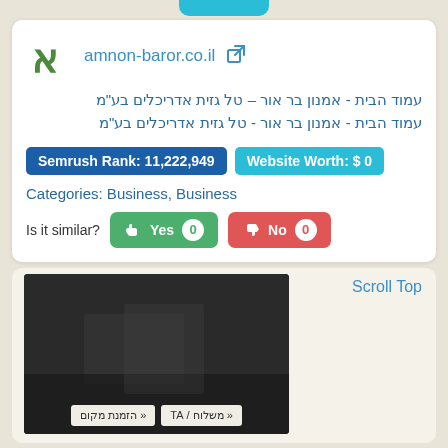[Figure (screenshot): Website info card for amnon-baror.co.il with logo, URL, Hebrew site title, Semrush rank, website worth, categories, and similarity vote buttons]
amnon-baror.co.il
עמוד הבית - אמנון בר אור – טל גזית אדריכלים בע"מ עמוד הבית - אמנון בר אור - טל גזית אדריכלים בע"מ
Semrush Rank: 11,222,949
Website Worth: $ 0
Categories: Business, Business
Is it similar?
Yes 0
No 0
Scroll Top
[Figure (screenshot): Dark video thumbnail with GIRAFFE logo and Hebrew navigation buttons at bottom]